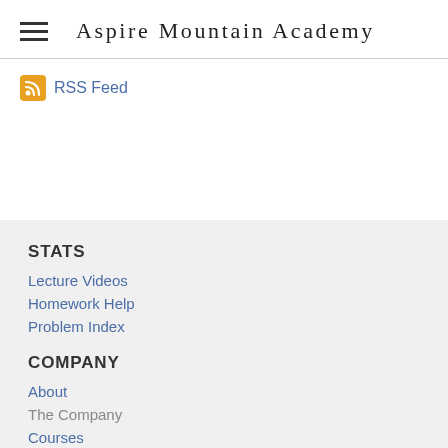Aspire Mountain Academy
RSS Feed
STATS
Lecture Videos
Homework Help
Problem Index
COMPANY
About
The Company
Courses